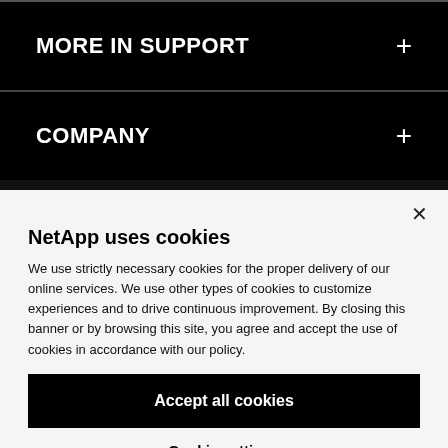MORE IN SUPPORT
COMPANY
NetApp uses cookies
We use strictly necessary cookies for the proper delivery of our online services. We use other types of cookies to customize experiences and to drive continuous improvement. By closing this banner or by browsing this site, you agree and accept the use of cookies in accordance with our policy.
Accept all cookies
Cookie settings